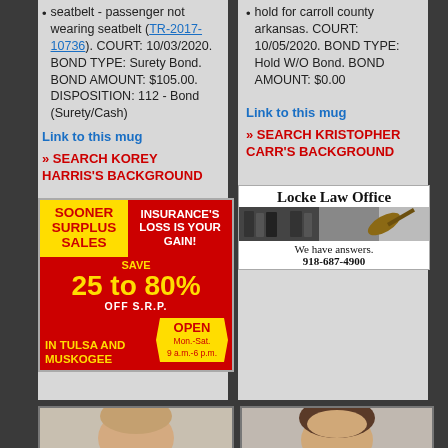seatbelt - passenger not wearing seatbelt (TR-2017-10736). COURT: 10/03/2020. BOND TYPE: Surety Bond. BOND AMOUNT: $105.00. DISPOSITION: 112 - Bond (Surety/Cash)
Link to this mug
» SEARCH KOREY HARRIS'S BACKGROUND
[Figure (photo): Sooner Surplus Sales advertisement - red background with yellow text. SAVE 25 to 80% OFF S.R.P. IN TULSA AND MUSKOGEE. OPEN Mon.-Sat. 9 a.m.-6 p.m. INSURANCE'S LOSS IS YOUR GAIN!]
hold for carroll county arkansas. COURT: 10/05/2020. BOND TYPE: Hold W/O Bond. BOND AMOUNT: $0.00
Link to this mug
» SEARCH KRISTOPHER CARR'S BACKGROUND
[Figure (photo): Locke Law Office advertisement. Shows image of law books and gavel. Text: Locke Law Office. We have answers. 918-687-4900]
[Figure (photo): Mugshot of a bald male individual]
[Figure (photo): Mugshot of a male individual with dark hair]